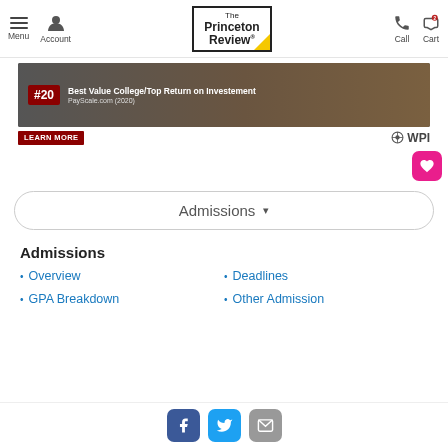Menu | Account | The Princeton Review | Call | Cart
[Figure (screenshot): WPI advertisement banner: #20 Best Value College/Top Return on Investement, PayScale.com (2020), with LEARN MORE button and WPI logo]
Admissions ▾
Admissions
Overview
Deadlines
GPA Breakdown
Other Admission